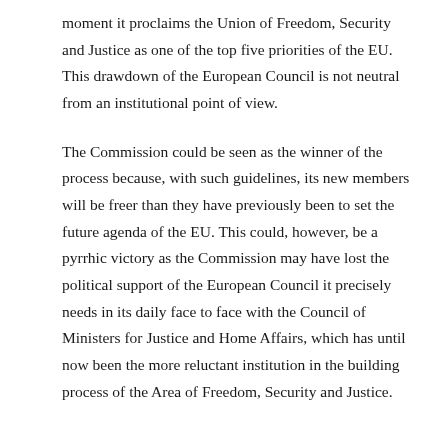moment it proclaims the Union of Freedom, Security and Justice as one of the top five priorities of the EU. This drawdown of the European Council is not neutral from an institutional point of view.
The Commission could be seen as the winner of the process because, with such guidelines, its new members will be freer than they have previously been to set the future agenda of the EU. This could, however, be a pyrrhic victory as the Commission may have lost the political support of the European Council it precisely needs in its daily face to face with the Council of Ministers for Justice and Home Affairs, which has until now been the more reluctant institution in the building process of the Area of Freedom, Security and Justice.